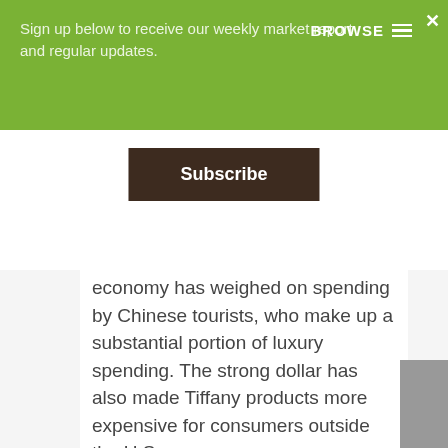Sign up below to receive our weekly market report and regular updates.
Subscribe
economy has weighed on spending by Chinese tourists, who make up a substantial portion of luxury spending. The strong dollar has also made Tiffany products more expensive for consumers outside the U.S.
“We believe Tiffany has many characteristics that are difficult to replicate and represent competitive advantages,” wrote Oliver Chen, luxury analyst at